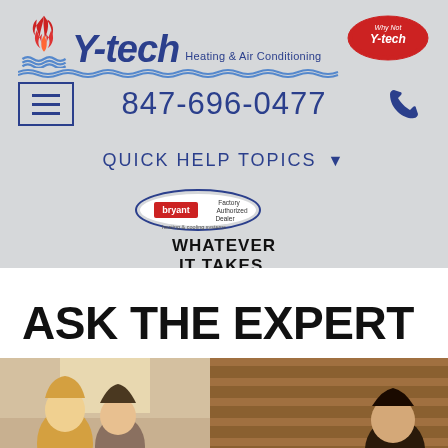[Figure (logo): Y-tech Heating & Air Conditioning logo with flame icon and wave underline, plus 'Why Not Y-tech' red oval badge]
[Figure (other): Hamburger navigation menu icon in blue square border]
847-696-0477
[Figure (other): Blue phone handset icon]
QUICK HELP TOPICS ▼
[Figure (logo): Bryant Heating & Cooling Systems - Factory Authorized Dealer logo with 'WHATEVER IT TAKES.' text]
ASK THE EXPERT
[Figure (photo): Photo strip showing two people - person with blonde hair on left side and person on right side with wooden shutters/blinds background]